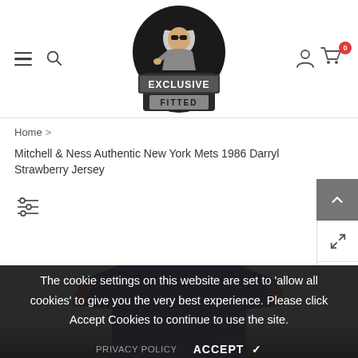[Figure (logo): Exclusive Fitted brand logo with cartoon character wearing baseball cap]
Navigation header with hamburger menu, search icon, logo, user icon, and cart (0 items)
Home >
Mitchell & Ness Authentic New York Mets 1986 Darryl Strawberry Jersey
[Figure (photo): Mitchell & Ness Authentic New York Mets 1986 Darryl Strawberry Jersey product image showing blue and orange jersey]
The cookie settings on this website are set to 'allow all cookies' to give you the very best experience. Please click Accept Cookies to continue to use the site.
PRIVACY POLICY   ACCEPT ✓